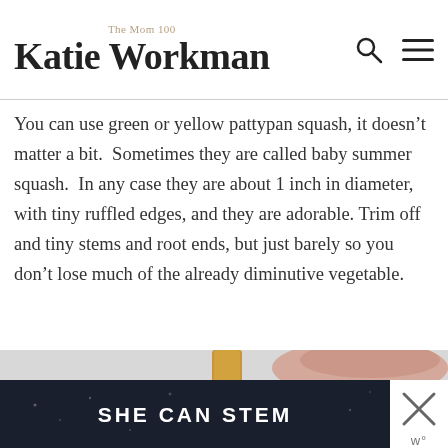The Mom 100 - Katie Workman
You can use green or yellow pattypan squash, it doesn’t matter a bit.  Sometimes they are called baby summer squash.  In any case they are about 1 inch in diameter, with tiny ruffled edges, and they are adorable. Trim off and tiny stems and root ends, but just barely so you don’t lose much of the already diminutive vegetable.
[Figure (photo): A hand holding a skewer or metal pick with a golden/wooden handle, shown from above against a light background. A dark banner overlay at the bottom reads SHE CAN STEM with a close/W button.]